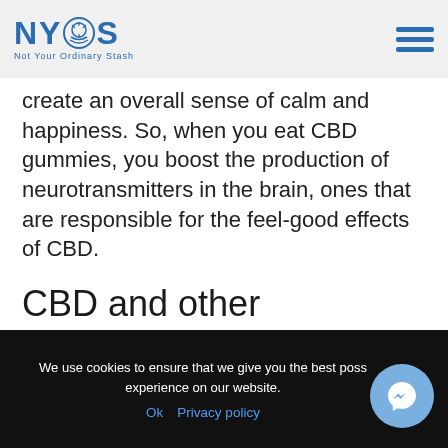NYOS — Not Your Ordinary Stash (logo and navigation)
create an overall sense of calm and happiness. So, when you eat CBD gummies, you boost the production of neurotransmitters in the brain, ones that are responsible for the feel-good effects of CBD.
CBD and other neurotransmitters
Here's a general overview of the primary
We use cookies to ensure that we give you the best possible experience on our website.
Ok   Privacy policy